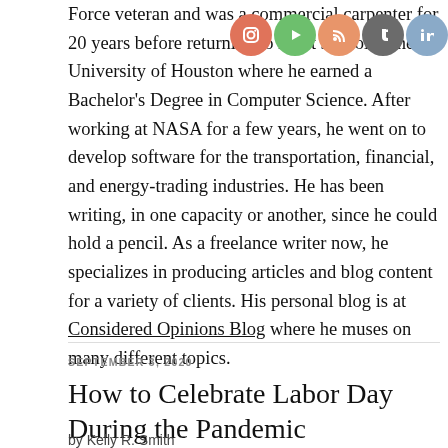Force veteran and was a commercial carpenter for 20 years before returning to night school at the University of Houston where he earned a Bachelor's Degree in Computer Science. After working at NASA for a few years, he went on to develop software for the transportation, financial, and energy-trading industries. He has been writing, in one capacity or another, since he could hold a pencil. As a freelance writer now, he specializes in producing articles and blog content for a variety of clients. His personal blog is at Considered Opinions Blog where he muses on many different topics.
[Figure (other): Social media icon buttons: Instagram, Play, RSS/podcast, Tumblr, LinkedIn]
SEPTEMBER 3, 2020
How to Celebrate Labor Day During the Pandemic
by Kelly R. Smith